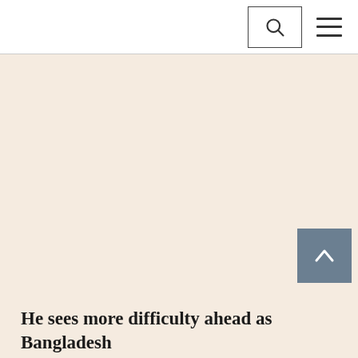[Figure (other): Large beige/cream colored content area placeholder, likely an image or advertisement region]
He sees more difficulty ahead as Bangladesh